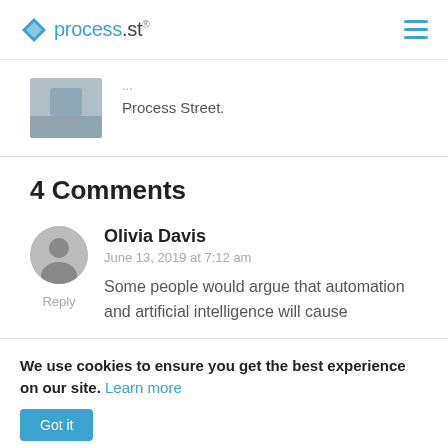process.st
Process Street.
4 Comments
Olivia Davis
June 13, 2019 at 7:12 am
Some people would argue that automation and artificial intelligence will cause
We use cookies to ensure you get the best experience on our site. Learn more
Got it